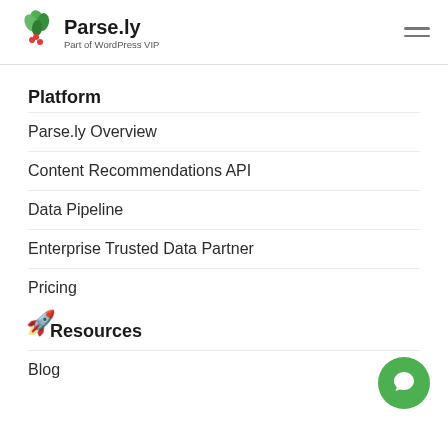Parse.ly Part of WordPress VIP
Platform
Parse.ly Overview
Content Recommendations API
Data Pipeline
Enterprise Trusted Data Partner
Pricing
Resources
Blog